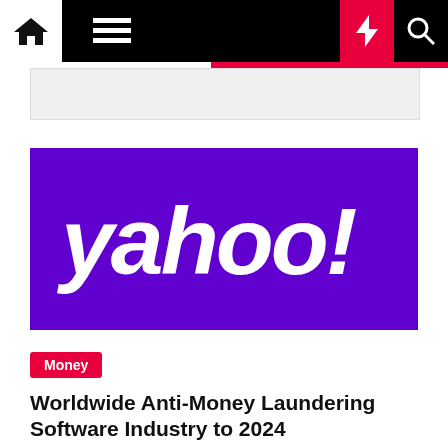Navigation bar with home, menu, moon, flash, search icons
[Figure (logo): Yahoo! logo — white text on purple background]
Money
Worldwide Anti-Money Laundering Software Industry to 2024